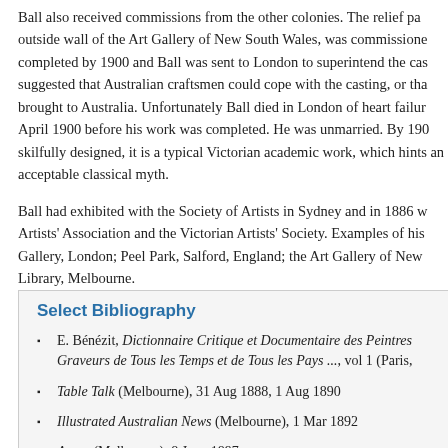Ball also received commissions from the other colonies. The relief pa... outside wall of the Art Gallery of New South Wales, was commissione... completed by 1900 and Ball was sent to London to superintend the cas... suggested that Australian craftsmen could cope with the casting, or tha... brought to Australia. Unfortunately Ball died in London of heart failur... April 1900 before his work was completed. He was unmarried. By 190... skilfully designed, it is a typical Victorian academic work, which hints... an acceptable classical myth.
Ball had exhibited with the Society of Artists in Sydney and in 1886 w... Artists' Association and the Victorian Artists' Society. Examples of his... Gallery, London; Peel Park, Salford, England; the Art Gallery of New... Library, Melbourne.
Select Bibliography
E. Bénézit, Dictionnaire Critique et Documentaire des Peintres... Graveurs de Tous les Temps et de Tous les Pays ..., vol 1 (Paris,
Table Talk (Melbourne), 31 Aug 1888, 1 Aug 1890
Illustrated Australian News (Melbourne), 1 Mar 1892
Argus (Melbourne), 8 June 1897